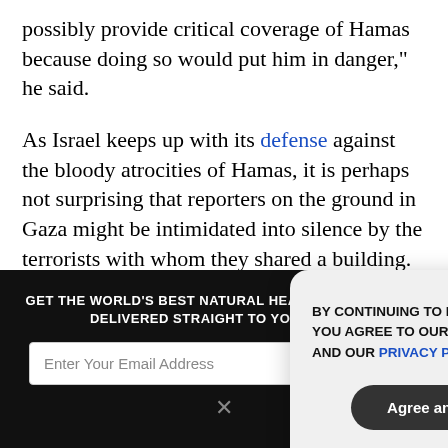possibly provide critical coverage of Hamas because doing so would put him in danger," he said.
As Israel keeps up with its defense against the bloody atrocities of Hamas, it is perhaps not surprising that reporters on the ground in Gaza might be intimidated into silence by the terrorists with whom they shared a building.
What is not acceptable, however, is the continued peddling of anti-Jewish and pro-terror narratives that undermine
[Figure (screenshot): Dark newsletter signup bar with 'GET THE WORLD'S BEST NATURAL HEALTH NEWSLETTER DELIVERED STRAIGHT TO YOUR INBOX' heading, email input field, and SUBSCRIBE button, with a close X icon below]
[Figure (screenshot): Cookie consent popup overlay: 'BY CONTINUING TO BROWSE OUR SITE YOU AGREE TO OUR USE OF COOKIES AND OUR PRIVACY POLICY.' with 'Agree and close' button and X close button]